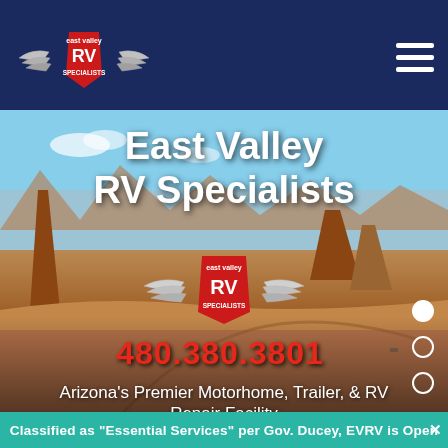[Figure (logo): East Valley RV Specialists logo: red shield with wings and 'RV SPECIALISTS' text, on dark navy header bar with hamburger menu icon]
[Figure (photo): Aerial view of Monument Valley desert landscape with red rock buttes under blue sky, serving as hero background image]
East Valley RV Specialists
[Figure (logo): East Valley RV Specialists logo centered in hero: red shield with wings and 'RV SPECIALISTS' text]
480.380.3801
Arizona's Premier Motorhome, Trailer, & RV Repair Facility
Classified as "Essential Services" per Gov. Ducey, EVRV is Open